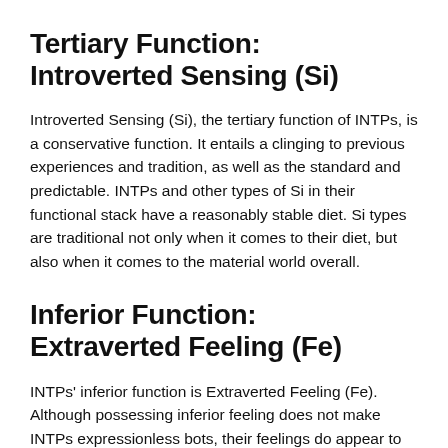Tertiary Function: Introverted Sensing (Si)
Introverted Sensing (Si), the tertiary function of INTPs, is a conservative function. It entails a clinging to previous experiences and tradition, as well as the standard and predictable. INTPs and other types of Si in their functional stack have a reasonably stable diet. Si types are traditional not only when it comes to their diet, but also when it comes to the material world overall.
Inferior Function: Extraverted Feeling (Fe)
INTPs' inferior function is Extraverted Feeling (Fe). Although possessing inferior feeling does not make INTPs expressionless bots, their feelings do appear to have their own minds, coming and going as they will. INTPs appear to feel uncomfortable and nervous in emotional